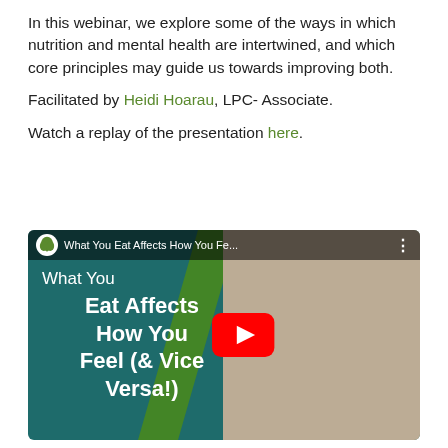In this webinar, we explore some of the ways in which nutrition and mental health are intertwined, and which core principles may guide us towards improving both.

Facilitated by Heidi Hoarau, LPC- Associate.

Watch a replay of the presentation here.
[Figure (screenshot): YouTube video thumbnail for 'What You Eat Affects How You Feel (& Vice Versa!)' showing a woman eating berries from a bowl, with a YouTube play button overlay and the video title on the left side over a teal background.]